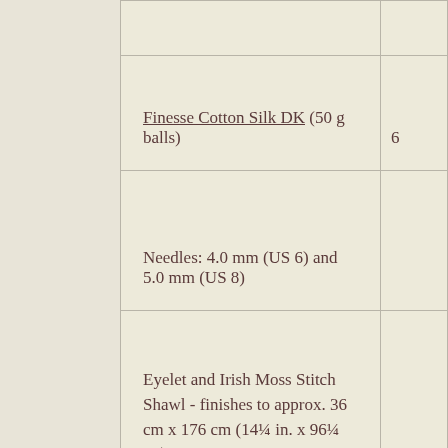| (partial cut-off text) |  |
| Finesse Cotton Silk DK (50 g balls) | 6 |
| Needles: 4.0 mm (US 6) and 5.0 mm (US 8) |  |
| Eyelet and Irish Moss Stitch Shawl - finishes to approx. 36 cm x 176 cm (14¼ in. x 96¼ in.) |  |
|  |  |
[Figure (illustration): Dark red/maroon bookmark or needle holder, narrow oval shape, positioned vertically on the left side of the page]